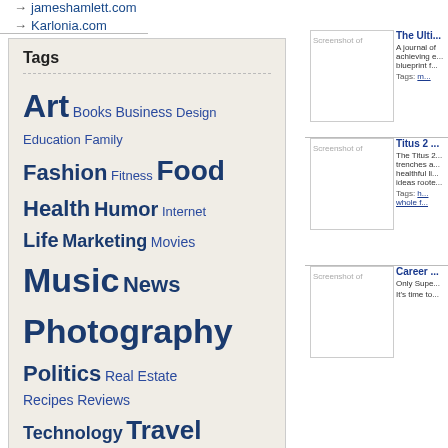→ jameshamlett.com
→ Karlonia.com
Tags
Art Books Business Design Education Family Fashion Fitness Food Health Humor Internet Life Marketing Movies Music News Photography Politics Real Estate Recipes Reviews Technology Travel Writing
View more tags
[Figure (screenshot): Screenshot of a website - The Ulti...]
The Ulti... A journal of achieving e... blueprint f... Tags: m...
[Figure (screenshot): Screenshot of a website - Titus 2 ...]
Titus 2 ... The Titus 2... trenches a... healthful li... ideas roote... Tags: h... whole f...
[Figure (screenshot): Screenshot of a website - Career ...]
Career ... Only Supe... It's time to...